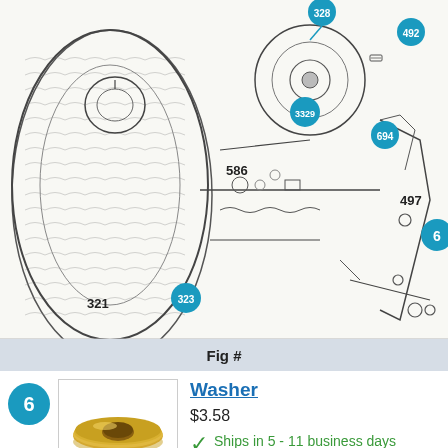[Figure (engineering-diagram): Exploded parts diagram of a rewind starter mechanism with numbered callout bubbles including parts 328, 492, 3329, 694, 586, 497, 6, 669, 493, 189, 92, 321, 323, 646, 568]
Fig #
6 - Washer - $3.58 - Ships in 5 - 11 business days
Add to Cart
55 - Housing- Rewind Starter